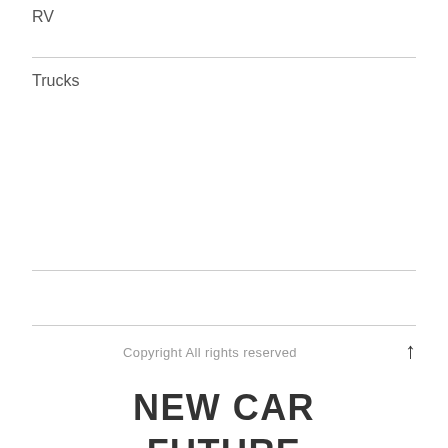RV
Trucks
Copyright All rights reserved
NEW CAR FUTURE